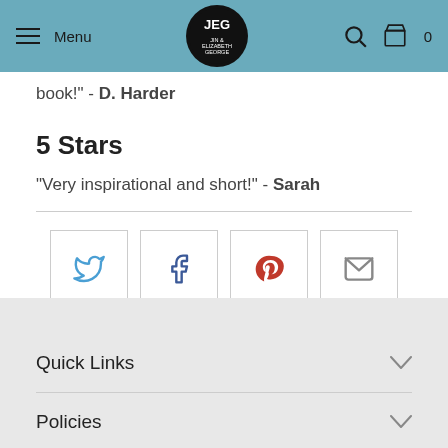Menu | JEG Jin & Elizabeth George | Search | Cart 0
book!" - D. Harder
5 Stars
"Very inspirational and short!" - Sarah
[Figure (infographic): Social share buttons: Twitter, Facebook, Pinterest, Email]
Quick Links
Policies